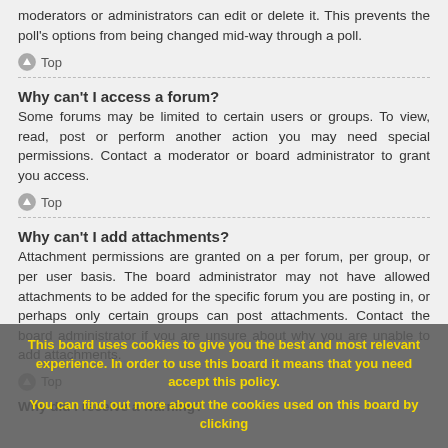moderators or administrators can edit or delete it. This prevents the poll's options from being changed mid-way through a poll.
Top
Why can't I access a forum?
Some forums may be limited to certain users or groups. To view, read, post or perform another action you may need special permissions. Contact a moderator or board administrator to grant you access.
Top
Why can't I add attachments?
Attachment permissions are granted on a per forum, per group, or per user basis. The board administrator may not have allowed attachments to be added for the specific forum you are posting in, or perhaps only certain groups can post attachments. Contact the board administrator if you are unsure about why you are unable to add attachments.
Top
Why did I receive a warning?
This board uses cookies to give you the best and most relevant experience. In order to use this board it means that you need accept this policy. You can find out more about the cookies used on this board by clicking